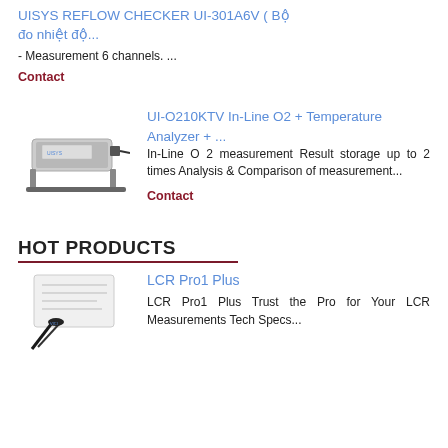UISYS REFLOW CHECKER UI-301A6V ( Bộ đo nhiệt độ...
- Measurement 6 channels. ...
Contact
[Figure (photo): Photo of UI-O210KTV In-Line O2 + Temperature Analyzer device]
UI-O210KTV In-Line O2 + Temperature Analyzer + ...
In-Line O 2 measurement Result storage up to 2 times Analysis & Comparison of measurement...
Contact
HOT PRODUCTS
[Figure (photo): Photo of LCR Pro1 Plus device with tweezers]
LCR Pro1 Plus
LCR Pro1 Plus Trust the Pro for Your LCR Measurements Tech Specs...